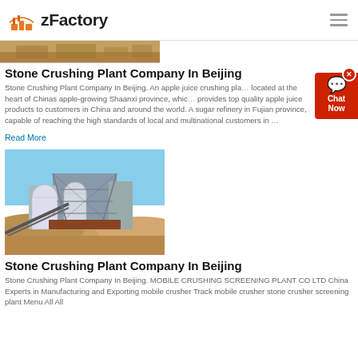zFactory
[Figure (photo): Partial view of a stone crushing plant / quarry with sandy terrain (top strip)]
Stone Crushing Plant Company In Beijing
Stone Crushing Plant Company In Beijing. An apple juice crushing plant located at the heart of Chinas apple-growing Shaanxi province, which provides top quality apple juice products to customers in China and around the world. A sugar refinery in Fujian province, capable of reaching the high standards of local and multinational customers in …
Read More
[Figure (photo): Stone crushing plant facility with large machinery, conveyors, and silos set against a blue sky and red/brown earth terrain.]
Stone Crushing Plant Company In Beijing
Stone Crushing Plant Company In Beijing. MOBILE CRUSHING SCREENING PLANT CO LTD China Experts in Manufacturing and Exporting mobile crusher Track mobile crusher stone crusher screening plant Menu All All